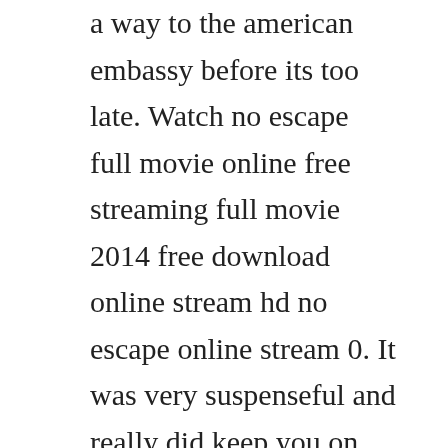a way to the american embassy before its too late. Watch no escape full movie online free streaming full movie 2014 free download online stream hd no escape online stream 0. It was very suspenseful and really did keep you on the edge of your seat the whole time. Owen wilsons new movie almost landed him in a thai prison. Suddenly they find themselves in the middle of a violent political uprising. Nonton film no escape 2015 sub indo streaming online. Guarda una nuova clip di no escape colpo di stato, lactionthriller con owen wilson, pierce brosnan e lake bell dal 10